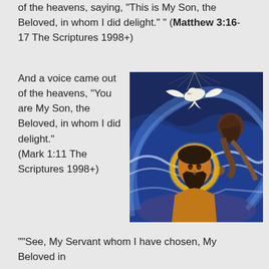of the heavens, saying, "This is My Son, the Beloved, in whom I did delight." " (Matthew 3:16-17 The Scriptures 1998+)
[Figure (illustration): A painting depicting the baptism of Jesus. Jesus is shown in the center with a golden halo, eyes closed, beard, being baptized by John the Baptist who stands behind him. A white dove descends from above. Swirling blue water and dramatic lighting surround the figures.]
And a voice came out of the heavens, "You are My Son, the Beloved, in whom I did delight." (Mark 1:11 The Scriptures 1998+)
""See, My Servant whom I have chosen, My Beloved in